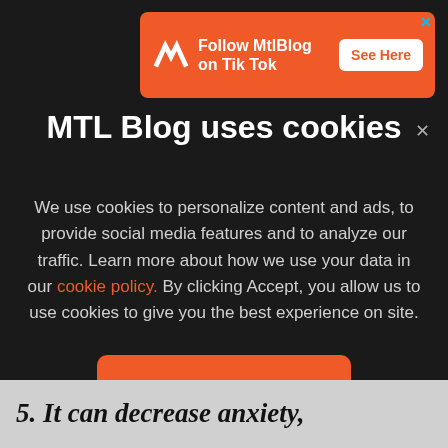[Figure (screenshot): Orange advertisement banner for MtlBlog TikTok with logo, text 'Follow MtlBlog on Tik Tok' and 'See Here' button]
MTL Blog uses cookies
We use cookies to personalize content and ads, to provide social media features and to analyze our traffic. Learn more about how we use your data in our cookie policy. By clicking Accept, you allow us to use cookies to give you the best experience on site.
Accept
5. It can decrease anxiety,